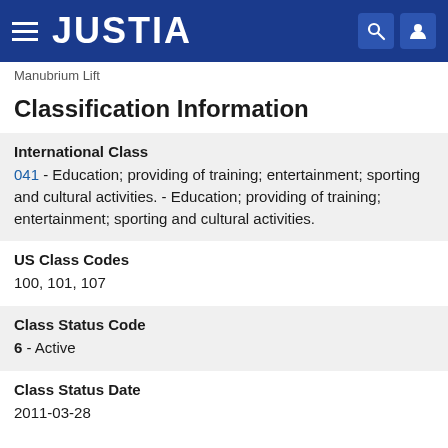JUSTIA
Manubrium Lift
Classification Information
International Class
041 - Education; providing of training; entertainment; sporting and cultural activities. - Education; providing of training; entertainment; sporting and cultural activities.
US Class Codes
100, 101, 107
Class Status Code
6 - Active
Class Status Date
2011-03-28